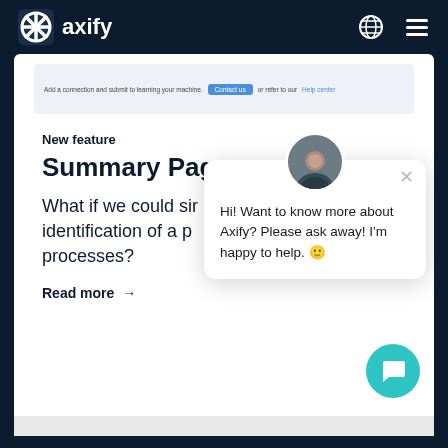axify
[Figure (screenshot): Partial screenshot of a web form with a contact button and a link]
New feature
Summary Page
What if we could simplify the identification of a process's processes?
Read more →
[Figure (other): Chat popup widget with avatar photo saying: Hi! Want to know more about Axify? Please ask away! I'm happy to help. 🙂]
[Figure (other): Teal chat bubble button in bottom right corner]